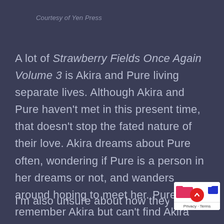Courtesy of Yen Press
A lot of Strawberry Fields Once Again Volume 3 is Akira and Pure living separate lives. Although Akira and Pure haven't met in this present time, that doesn't stop the fated nature of their love. Akira dreams about Pure often, wondering if Pure is a person in her dreams or not, and wanders around hoping to meet her. Pure does remember Akira but can't find Akira since Ruri pays the detective she hired to give her false information. They don't reunite until Pure saves Akira halfway into the manga, then we are in Pure's memory of the future.
I'm also unsure about how they meet when th…